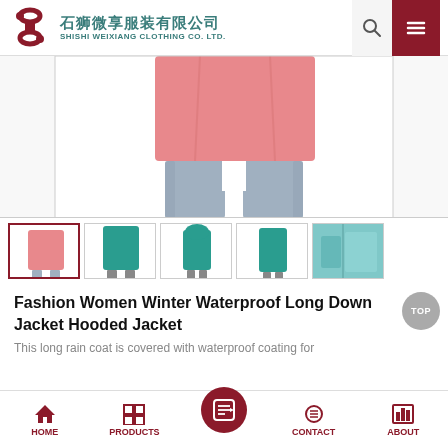石狮微享服装有限公司 SHISHI WEIXIANG CLOTHING CO. LTD.
[Figure (photo): Main product photo showing lower half of woman wearing a pink waterproof long down jacket with blue-grey trousers, on white background]
[Figure (photo): Thumbnail strip with 5 product images: pink jacket (selected/active), teal jacket front, teal jacket front hooded, teal jacket side, teal fabric close-up]
Fashion Women Winter Waterproof Long Down Jacket Hooded Jacket
This long rain coat is covered with waterproof coating for
HOME   PRODUCTS   [Inquiry]   CONTACT   ABOUT